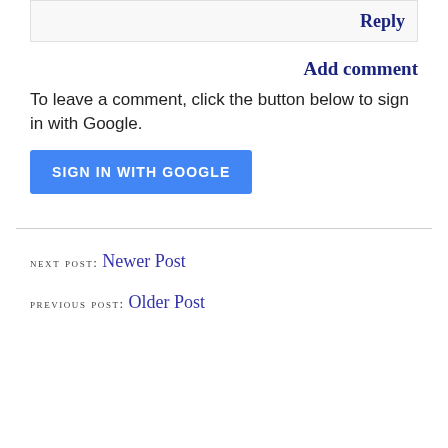Reply
Add comment
To leave a comment, click the button below to sign in with Google.
SIGN IN WITH GOOGLE
NEXT POST: Newer Post
PREVIOUS POST: Older Post